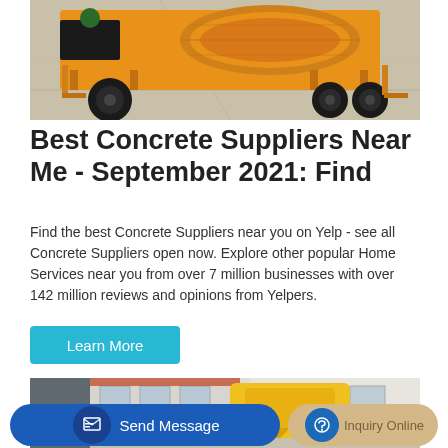[Figure (photo): Yellow concrete mixer truck on a concrete surface, top portion visible]
Best Concrete Suppliers Near Me - September 2021: Find
Find the best Concrete Suppliers near you on Yelp - see all Concrete Suppliers open now. Explore other popular Home Services near you from over 7 million businesses with over 142 million reviews and opinions from Yelpers.
Learn More
[Figure (photo): Yellow concrete mixer equipment near a building, bottom portion of page]
Send Message
Inquiry Online